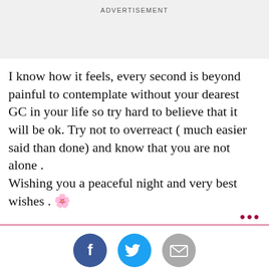ADVERTISEMENT
I know how it feels, every second is beyond painful to contemplate without your dearest GC in your life so try hard to believe that it will be ok. Try not to overreact ( much easier said than done) and know that you are not alone .
Wishing you a peaceful night and very best wishes . 🌸
[Figure (infographic): Three social sharing icons: Facebook (dark blue circle), Twitter (light blue circle), Email/envelope (grey circle)]
[Figure (infographic): Join the conversation section with bold text and a partial photo of a woman's face on the right]
Active | Watching | Home | I'm on | Search